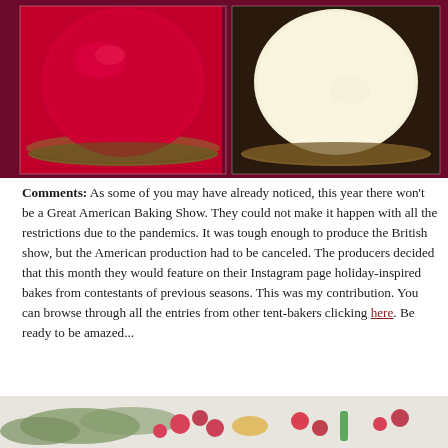[Figure (photo): Two side-by-side photos of tarts in fluted pans: left tart has a vivid red/crimson jelly filling, right tart has a pale cream/custard filling, both on dark backgrounds.]
Comments: As some of you may have already noticed, this year there won't be a Great American Baking Show. They could not make it happen with all the restrictions due to the pandemics. It was tough enough to produce the British show, but the American production had to be canceled. The producers decided that this month they would feature on their Instagram page holiday-inspired bakes from contestants of previous seasons. This was my contribution. You can browse through all the entries from other tent-bakers clicking here. Be ready to be amazed...
[Figure (photo): Bottom partial photo showing holiday-themed baked goods with red berries and colorful decorations on a snowy/powdered sugar surface.]